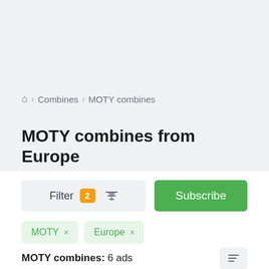Home > Combines > MOTY combines
MOTY combines from Europe
Filter 2 [subscribe button]
MOTY ×
Europe ×
MOTY combines: 6 ads